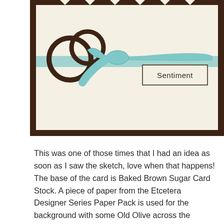[Figure (illustration): A craft card image showing a decorative card with a dark brown border, cream/vanilla background, circular stamp images (dark brown rings) on the left, a light blue/teal ribbon bow in the center, and a box with the word 'Sentiment' on the right side.]
This was one of those times that I had an idea as soon as I saw the sketch, love when that happens! The base of the card is Baked Brown Sugar Card Stock. A piece of paper from the Etcetera Designer Series Paper Pack is used for the background with some Old Olive across the bottom and a piece of Very Vanilla cut out with the Tasteful Trims Bigz XL Die. The main panel is a piece of Very Vanilla backed by Pool Party. The reindeer is from the Warmth and Wonder Host(ess) Stamp Set. All of the other images are from the A Banner Christmas Stamp Set, the Merry is cut out with my Paper Snips and adhered with Stampin' Dimensionals. The HO-cubed is